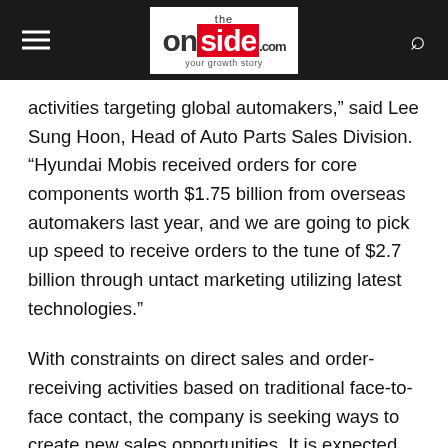the onside .com your growth story
activities targeting global automakers,” said Lee Sung Hoon, Head of Auto Parts Sales Division. “Hyundai Mobis received orders for core components worth $1.75 billion from overseas automakers last year, and we are going to pick up speed to receive orders to the tune of $2.7 billion through untact marketing utilizing latest technologies.”
With constraints on direct sales and order-receiving activities based on traditional face-to-face contact, the company is seeking ways to create new sales opportunities. It is expected that the brand image of Hyundai Mobis, which is taking a leap to become a global technology leader in future cars, will be improved through preemptive untact marketing technology.
Hyundai Mobis is increasingly planning to produce Virtual Tech Fair content and proactively use it for sales and order